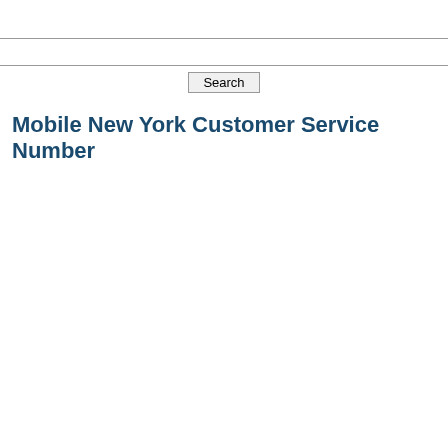[Figure (screenshot): Search input bar spanning the full width of the page]
Mobile New York Customer Service Number